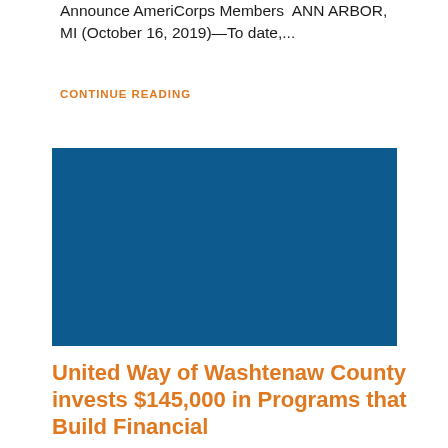Announce AmeriCorps Members  ANN ARBOR, MI (October 16, 2019)—To date,...
CONTINUE READING
[Figure (photo): A solid dark blue rectangular image placeholder, likely a photo related to the AmeriCorps or United Way article.]
United Way of Washtenaw County invests $145,000 in Programs that Build Financial